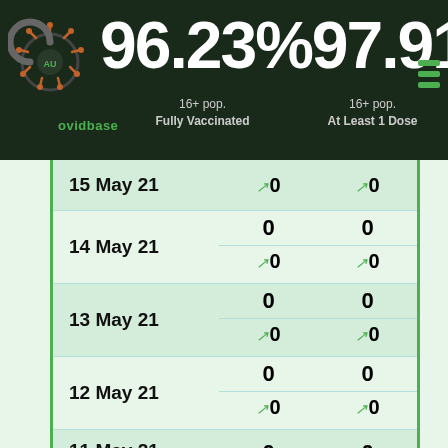[Figure (infographic): CovidBase AU logo with COVID virus illustration]
96.23% 97.91%
16+ pop. Fully Vaccinated   16+ pop. At Least 1 Dose
| Date | Fully Vaccinated | At Least 1 Dose |
| --- | --- | --- |
| 15 May 21 | ↗0 | ↗0 |
| 14 May 21 | 0 / ↗0 | 0 / ↗0 |
| 13 May 21 | 0 / ↗0 | 0 / ↗0 |
| 12 May 21 | 0 / ↗0 | 0 / ↗0 |
| 11 May 21 | 0 | 0 |